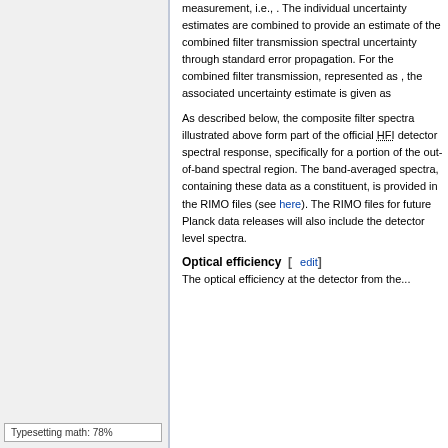measurement, i.e., . The individual uncertainty estimates are combined to provide an estimate of the combined filter transmission spectral uncertainty through standard error propagation. For the combined filter transmission, represented as , the associated uncertainty estimate is given as
As described below, the composite filter spectra illustrated above form part of the official HFI detector spectral response, specifically for a portion of the out-of-band spectral region. The band-averaged spectra, containing these data as a constituent, is provided in the RIMO files (see here). The RIMO files for future Planck data releases will also include the detector level spectra.
Optical efficiency   [edit]
The optical efficiency at the detector from the...
Typesetting math: 78%